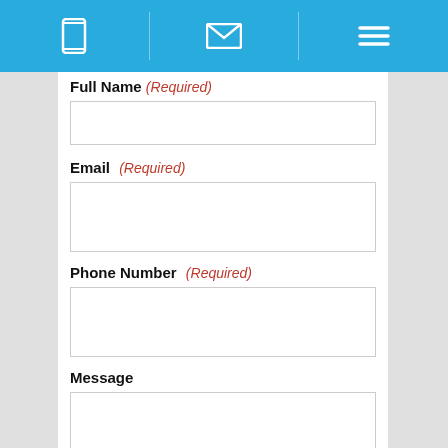Navigation bar with phone, email, and menu icons
Full Name (Required)
Email (Required)
Phone Number (Required)
Message